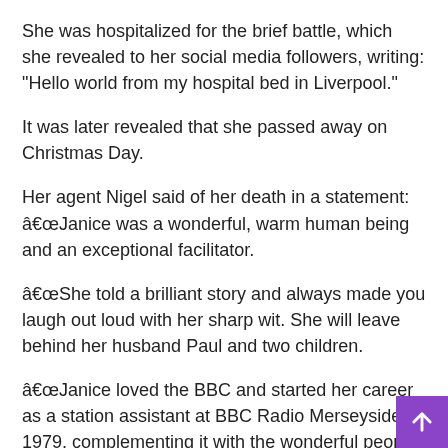She was hospitalized for the brief battle, which she revealed to her social media followers, writing: “Hello world from my hospital bed in Liverpool.”
It was later revealed that she passed away on Christmas Day.
Her agent Nigel said of her death in a statement: â€œJanice was a wonderful, warm human being and an exceptional facilitator.
â€œShe told a brilliant story and always made you laugh out loud with her sharp wit. She will leave behind her husband Paul and two children.
â€œJanice loved the BBC and started her career as a station assistant at BBC Radio Merseyside in 1979, complementing it with the wonderful people of BBC Radio Wales.
“Janice wanted it to be known that she was so grateful to the NHS and everyone who looked after her there.”